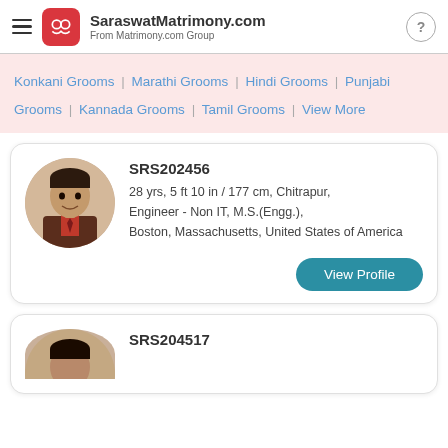SaraswatMatrimony.com From Matrimony.com Group
Konkani Grooms | Marathi Grooms | Hindi Grooms | Punjabi Grooms | Kannada Grooms | Tamil Grooms | View More
SRS202456
28 yrs, 5 ft 10 in / 177 cm, Chitrapur,
Engineer - Non IT, M.S.(Engg.),
Boston, Massachusetts, United States of America
View Profile
SRS204517